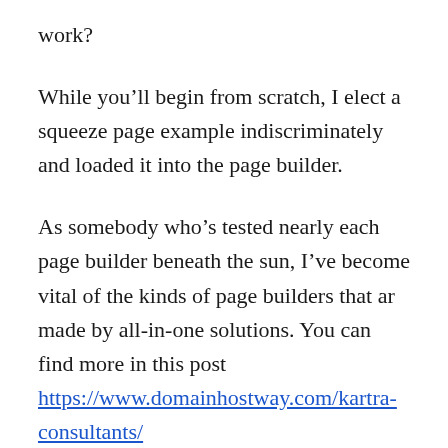work?
While you'll begin from scratch, I elect a squeeze page example indiscriminately and loaded it into the page builder.
As somebody who's tested nearly each page builder beneath the sun, I've become vital of the kinds of page builders that ar made by all-in-one solutions. You can find more in this post https://www.domainhostway.com/kartra-consultants/